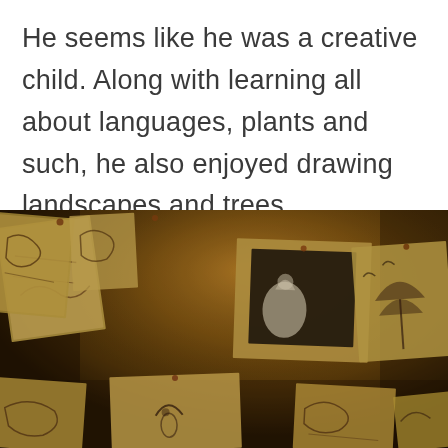He seems like he was a creative child. Along with learning all about languages, plants and such, he also enjoyed drawing landscapes and trees.
[Figure (photo): A dark, warmly lit photo of a corkboard covered with multiple hand-drawn sketches and drawings pinned to it. The drawings appear to depict landscapes, trees, animals (birds, creatures), and figures, rendered in ink or pencil on white paper. The overall tone is amber/sepia due to dramatic lighting.]